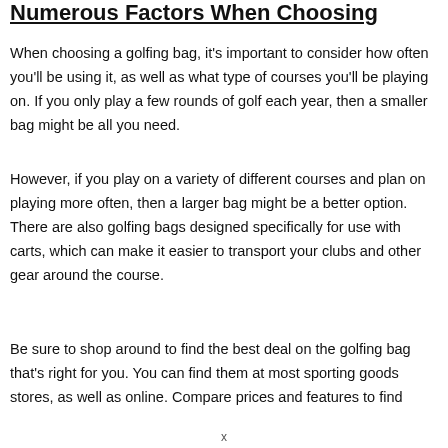Numerous Factors When Choosing
When choosing a golfing bag, it's important to consider how often you'll be using it, as well as what type of courses you'll be playing on. If you only play a few rounds of golf each year, then a smaller bag might be all you need.
However, if you play on a variety of different courses and plan on playing more often, then a larger bag might be a better option. There are also golfing bags designed specifically for use with carts, which can make it easier to transport your clubs and other gear around the course.
Be sure to shop around to find the best deal on the golfing bag that's right for you. You can find them at most sporting goods stores, as well as online. Compare prices and features to find